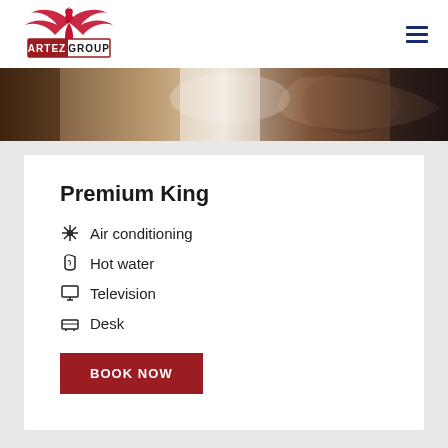[Figure (logo): Artez Group logo — red and dark phoenix bird above a rectangular label reading ARTEZ GROUP]
[Figure (photo): Partial hotel room image strip showing wooden furniture and decorative fabric with floral pattern]
Premium King
Air conditioning
Hot water
Television
Desk
BOOK NOW